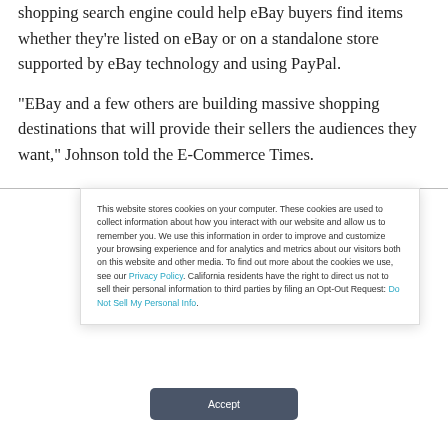recent purchase of Shopping.com for $620 million. That shopping search engine could help eBay buyers find items whether they're listed on eBay or on a standalone store supported by eBay technology and using PayPal.
“EBay and a few others are building massive shopping destinations that will provide their sellers the audiences they want,” Johnson told the E-Commerce Times.
This website stores cookies on your computer. These cookies are used to collect information about how you interact with our website and allow us to remember you. We use this information in order to improve and customize your browsing experience and for analytics and metrics about our visitors both on this website and other media. To find out more about the cookies we use, see our Privacy Policy. California residents have the right to direct us not to sell their personal information to third parties by filing an Opt-Out Request: Do Not Sell My Personal Info.
Accept